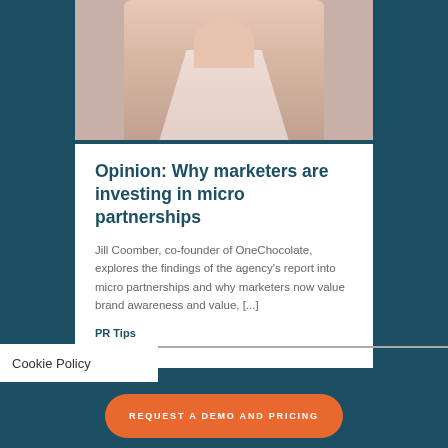[Figure (photo): Partial photo of a woman in a light pink/beige sleeveless top, upper body visible against a white background]
Opinion: Why marketers are investing in micro partnerships
Jill Coomber, co-founder of OneChocolate, explores the findings of the agency's report into micro partnerships and why marketers now value brand awareness and value, [...]
PR Tips
Cookie Policy
REQUEST A DEMO AND PRICING